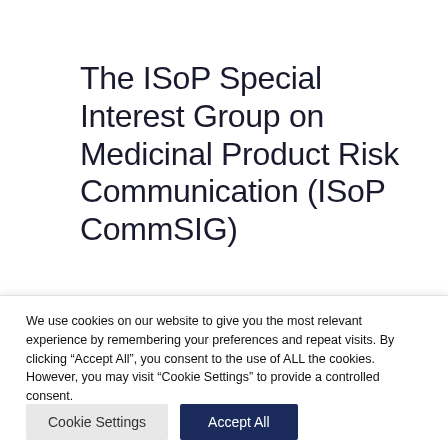The ISoP Special Interest Group on Medicinal Product Risk Communication (ISoP CommSIG)
ISoP, the International Society of
We use cookies on our website to give you the most relevant experience by remembering your preferences and repeat visits. By clicking “Accept All”, you consent to the use of ALL the cookies. However, you may visit "Cookie Settings" to provide a controlled consent.